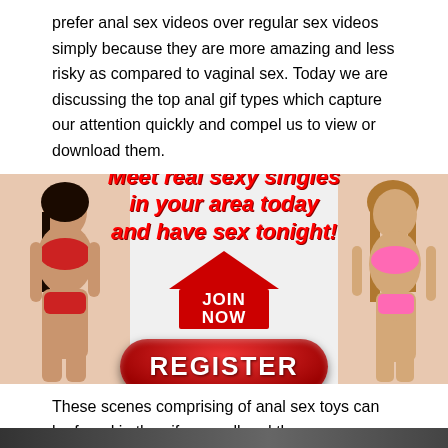prefer anal sex videos over regular sex videos simply because they are more amazing and less risky as compared to vaginal sex. Today we are discussing the top anal gif types which capture our attention quickly and compel us to view or download them.
[Figure (infographic): Advertisement banner with two women in bikinis on left and right, center text reads 'Meet real sexy singles in your area today and have sex tonight!' with a red arrow JOIN NOW button and a red REGISTER button below.]
These scenes comprising of anal sex toys can be found in the gifs as well and there are numerous gifs on the porn gif sites which establish this fact.